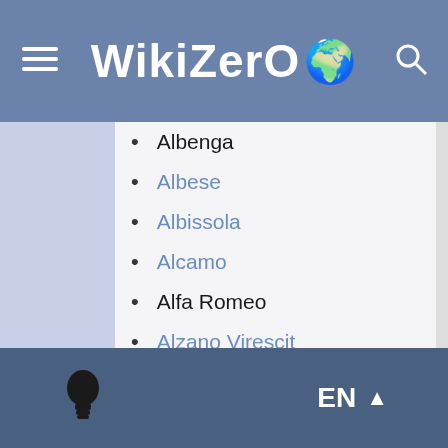WikiZero
Albenga
Albese
Albissola
Alcamo
Alfa Romeo
Alzano Virescit
Amatori Bologna
Ampelea
Andrea Doria
Andreanelli
Aosta
Ardens
EN